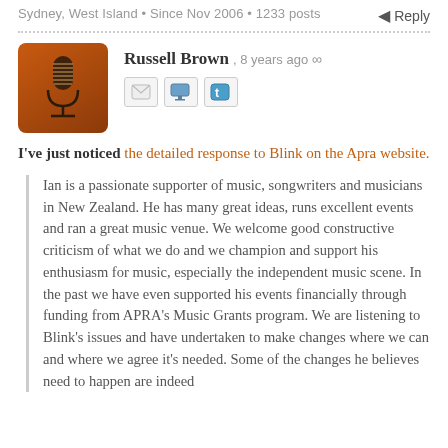Sydney, West Island • Since Nov 2006 • 1233 posts
Reply
Russell Brown, 8 years ago ∞
I've just noticed the detailed response to Blink on the Apra website.
Ian is a passionate supporter of music, songwriters and musicians in New Zealand. He has many great ideas, runs excellent events and ran a great music venue. We welcome good constructive criticism of what we do and we champion and support his enthusiasm for music, especially the independent music scene. In the past we have even supported his events financially through funding from APRA's Music Grants program. We are listening to Blink's issues and have undertaken to make changes where we can and where we agree it's needed. Some of the changes he believes need to happen are indeed